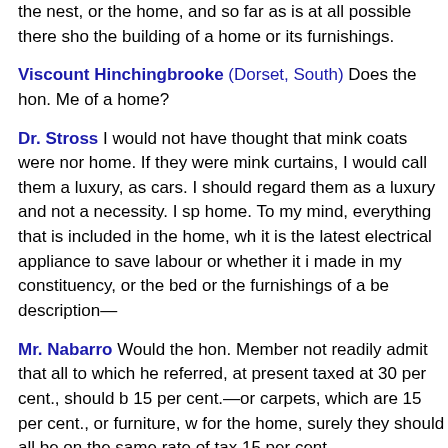the nest, or the home, and so far as is at all possible there should be the building of a home or its furnishings.
Viscount Hinchingbrooke (Dorset, South) Does the hon. Member— of a home?
Dr. Stross I would not have thought that mink coats were normally in a home. If they were mink curtains, I would call them a luxury, as cars. I should regard them as a luxury and not a necessity. I speak of home. To my mind, everything that is included in the home, whether it is the latest electrical appliance to save labour or whether it is made in my constituency, or the bed or the furnishings of a bed of any description—
Mr. Nabarro Would the hon. Member not readily admit that all the items to which he referred, at present taxed at 30 per cent., should be 15 per cent.—or carpets, which are 15 per cent., or furniture, which for the home, surely they should all be on the same rate of tax, namely, 15 per cent.
Dr. Stross I was pleading for something a little more radical than has now put to me. I was pleading that there should be no tax